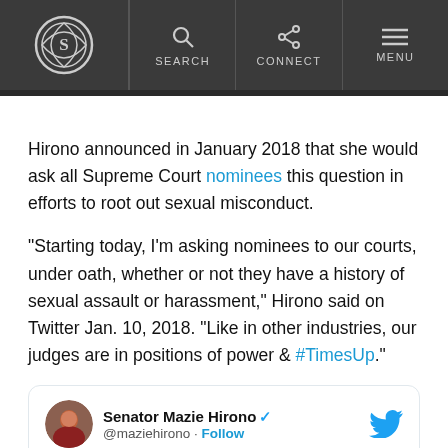Snopes navigation bar with logo, SEARCH, CONNECT, MENU
Hirono announced in January 2018 that she would ask all Supreme Court nominees this question in efforts to root out sexual misconduct.
“Starting today, I’m asking nominees to our courts, under oath, whether or not they have a history of sexual assault or harassment,” Hirono said on Twitter Jan. 10, 2018. “Like in other industries, our judges are in positions of power & #TimesUp.”
[Figure (screenshot): Embedded tweet from Senator Mazie Hirono (@maziehirono) with Follow button and Twitter bird icon]